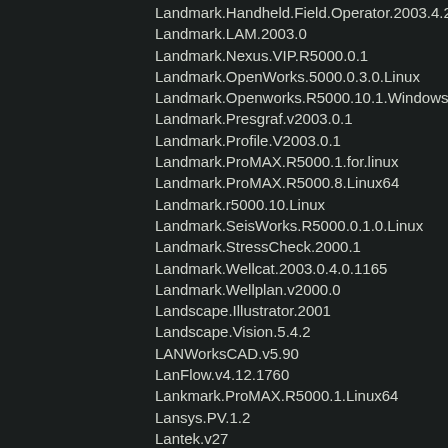Landmark.Handheld.Field.Operator.2003.4.2
Landmark.LAM.2003.0
Landmark.Nexus.VIP.R5000.0.1
Landmark.OpenWorks.5000.0.3.0.Linux
Landmark.Openworks.R5000.10.1.Windows
Landmark.Presgraf.v2003.0.1
Landmark.Profile.V2003.0.1
Landmark.ProMAX.R5000.1.for.linux
Landmark.ProMAX.R5000.8.Linux64
Landmark.r5000.10.Linux
Landmark.SeisWorks.R5000.0.1.0.Linux
Landmark.StressCheck.2000.1
Landmark.Wellcat.2003.0.4.0.1165
Landmark.Wellplan.v2000.0
Landscape.Illustrator.2001
Landscape.Vision.5.4.2
LANWorksCAD.v5.90
LanFlow.v4.12.1760
Lankmark.ProMAX.R5000.1.Linux64
Lansys.PV.1.2
Lantek.v27
Lark.v4XSound.CMI8738.C.MEDIA.v128D.PCI
LARS.Bridge.CONNECT.Edition.v10.06
LARSA.4D.v8.00.8101
lascad.3.6.1